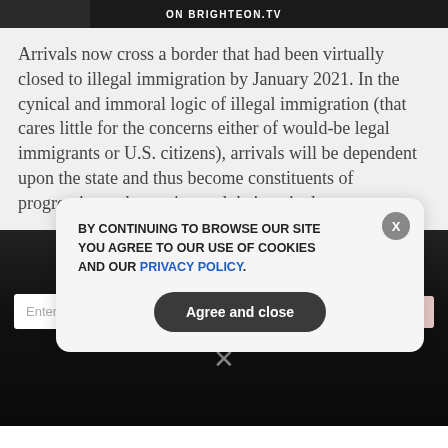[Figure (screenshot): Top black banner with text 'ON BRIGHTEON.TV' and a partial image of people on the left side]
Arrivals now cross a border that had been virtually closed to illegal immigration by January 2021. In the cynical and immoral logic of illegal immigration (that cares little for the concerns either of would-be legal immigrants or U.S. citizens), arrivals will be dependent upon the state and thus become constituents of progressives who engineered their arrival.
[Figure (screenshot): Dark newsletter signup section with text 'GET THE WORLD'S BEST NATURAL HEALTH NEWSLETTER DELIVERED STRAIGHT TO YOUR INBOX' and email input field with SUBSCRIBE button and close X icon]
[Figure (screenshot): Cookie consent popup overlay with text 'BY CONTINUING TO BROWSE OUR SITE YOU AGREE TO OUR USE OF COOKIES AND OUR PRIVACY POLICY.' with Agree and close button and X close button]